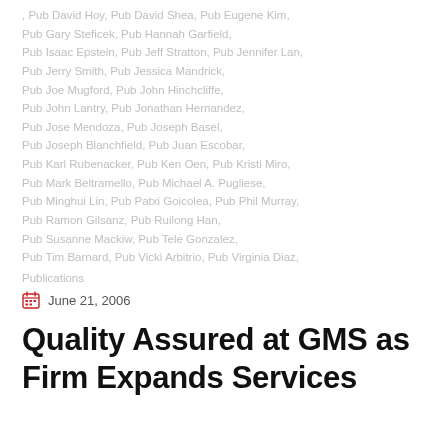, Pub David Hoy, Pub David Shea, Pub Eugene Kim, Pub Gary Steficek, Pub Hannah Garfield, Pub Isaac Epstein, Pub Jeff Stratton, Pub Jennifer Lan, Pub Jerry Smith, Pub Jessica Mandrick, Pub Joe Mugford, Pub John Hinchcliffe, Pub John Lantry, Pub Jonathan Hernandez, Pub Jose Mendoza, Pub Joseph Basel, Pub Joseph Blanchfield, Pub Juan Escobar, Pub Karl Rubenacker, Pub Ken Oen, Pub Kristi Miro, Pub Mark Beltramello, Pub Michael A. Pugliese, Pub Minghui Lin, Pub Patxi Goicolea, Pub Phil Murray, Pub Ramon Gilsanz, Pub Ruilong Han, Pub Susanne Mackiw, Pub Tele Gonzalez, Pub Tim Barnard, Pub Vicki Arbitrio, Pub Virginia Diaz,
Publications
June 21, 2006
Quality Assured at GMS as Firm Expands Services